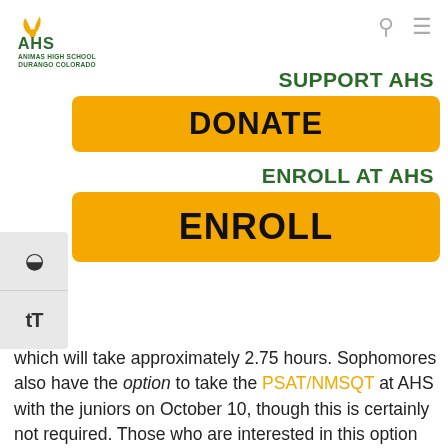[Figure (logo): Animas High School logo with yellow/gold bird/leaf graphic, green AHS letters, and text ANIMAS HIGH SCHOOL DURANGO COLORADO]
SUPPORT AHS
DONATE
ENROLL AT AHS
ENROLL
which will take approximately 2.75 hours. Sophomores also have the option to take the PSAT/NMSQT at AHS with the juniors on October 10, though this is certainly not required. Those who are interested in this option should register